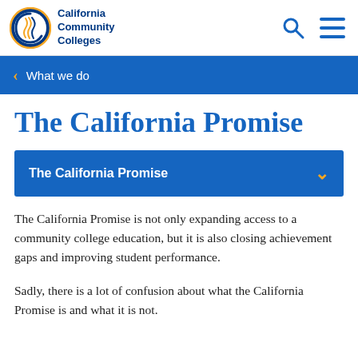California Community Colleges
What we do
The California Promise
The California Promise
The California Promise is not only expanding access to a community college education, but it is also closing achievement gaps and improving student performance.
Sadly, there is a lot of confusion about what the California Promise is and what it is not.